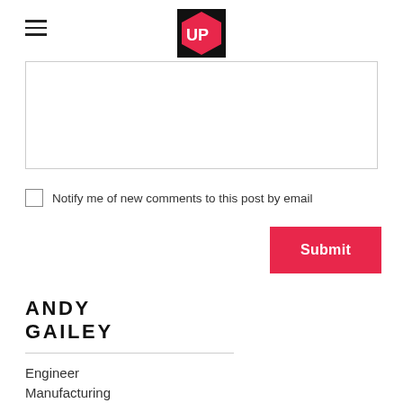UP logo header with hamburger menu
[Figure (screenshot): Comment submission form area with textarea input box, notify me checkbox, and Submit button]
Notify me of new comments to this post by email
ANDY GAILEY
Engineer
Manufacturing